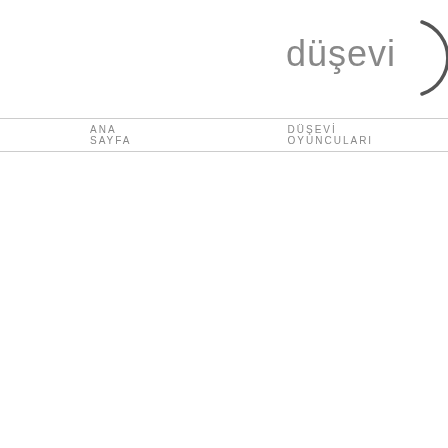[Figure (logo): düşevi logo with text and partial circle graphic on the right side]
ANA SAYFA   DÜŞEVİ OYUNCULARI